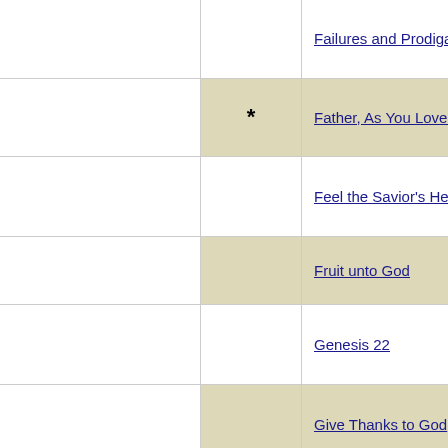|  | Star | Title |
| --- | --- | --- |
|  |  | Failures and Prodigals |
|  | * | Father, As You Love Your... |
|  |  | Feel the Savior's Heart for... |
|  |  | Fruit unto God |
|  |  | Genesis 22 |
|  |  | Give Thanks to God |
|  | * | God Blesses His People |
|  |  |  |